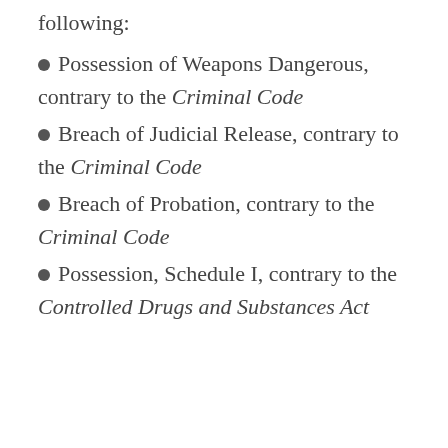following:
Possession of Weapons Dangerous, contrary to the Criminal Code
Breach of Judicial Release, contrary to the Criminal Code
Breach of Probation, contrary to the Criminal Code
Possession, Schedule I, contrary to the Controlled Drugs and Substances Act